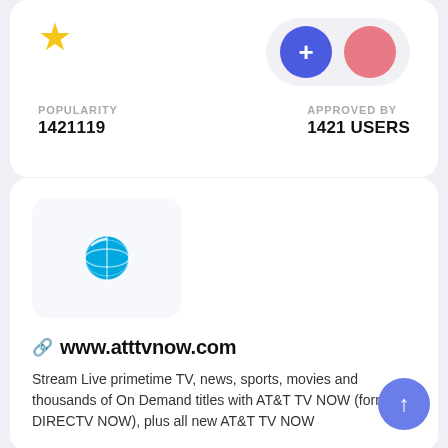POPULARITY
1421119
APPROVED BY
1421 USERS
[Figure (logo): AT&T TV NOW app logo - blue AT&T globe icon on light gray background]
www.atttvnow.com
Stream Live primetime TV, news, sports, movies and thousands of On Demand titles with AT&T TV NOW (formerly DIRECTV NOW), plus all new AT&T TV NOW